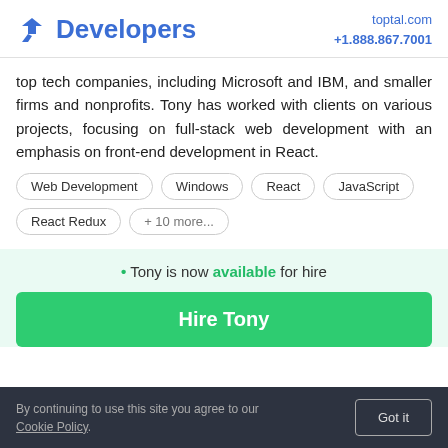Developers  toptal.com +1.888.867.7001
top tech companies, including Microsoft and IBM, and smaller firms and nonprofits. Tony has worked with clients on various projects, focusing on full-stack web development with an emphasis on front-end development in React.
Web Development
Windows
React
JavaScript
React Redux
+ 10 more...
• Tony is now available for hire
Hire Tony
By continuing to use this site you agree to our Cookie Policy.  Got it